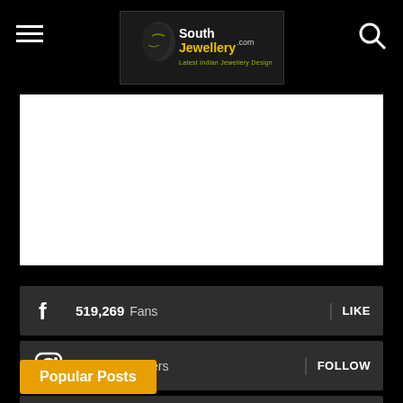SouthJewellery.com - Latest Indian Jewellery Designs
[Figure (screenshot): White advertisement banner placeholder]
519,269 Fans LIKE
3,758 Followers FOLLOW
193 Followers FOLLOW
Popular Posts